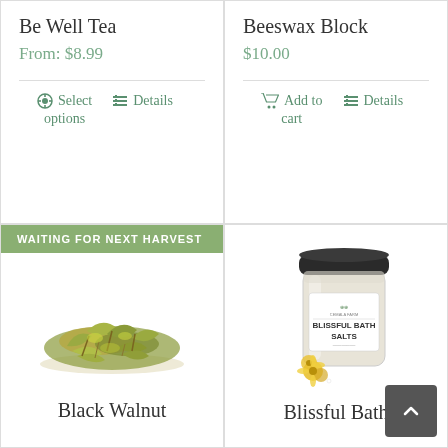Be Well Tea
From: $8.99
Select options   Details
Beeswax Block
$10.00
Add to cart   Details
WAITING FOR NEXT HARVEST
[Figure (photo): Pile of dried Black Walnut leaves/herbs]
Black Walnut
[Figure (photo): Glass jar of Blissful Bath Salts with yellow flowers]
Blissful Bath